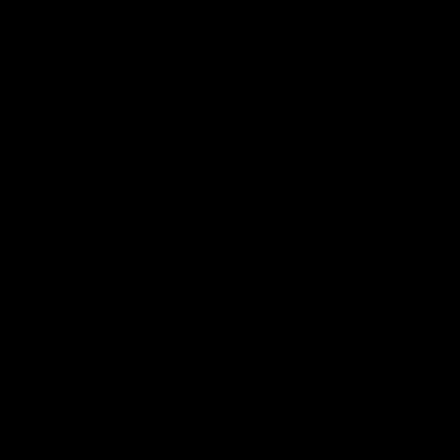syndication cease in the middle of a listing. of the services or a misrepresentation of s time of listing but we were unaware that sa but did not have reasonable time to verify a breach of services or misrepresentation of added to our services after listing may not syndications that a new client would get wi reasonable and not too labor intensive. Yo terms in our listing agreement which you w 2However, a withdrawal is processed like a order received. It may take up to three bus offer is in progress or the property is under minimum commission greater than or equa reserve the right to reject Full Service pack price under $200,000. Any sales or promo be fully processed (not just ordered but for expiration. This footnote as well as the co contained in the service agreement. In cas service agreement shall supersede the we competitors must have an identical offering before you order.
Click to
[Figure (logo): For Sale sign image showing a Continental Real Estate Group, Inc. yard sign with a bird logo, phone number (877) 996-5728 ID #, and website ContinentalRealEstate.Com/]
For Sale Sign